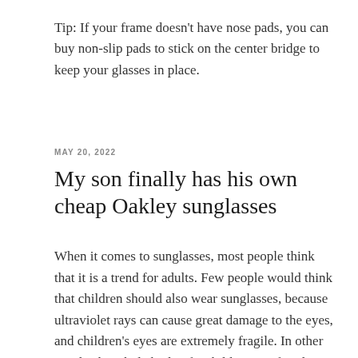Tip: If your frame doesn't have nose pads, you can buy non-slip pads to stick on the center bridge to keep your glasses in place.
MAY 20, 2022
My son finally has his own cheap Oakley sunglasses
When it comes to sunglasses, most people think that it is a trend for adults. Few people would think that children should also wear sunglasses, because ultraviolet rays can cause great damage to the eyes, and children's eyes are extremely fragile. In other words, the whole body of a child is very fragile. Since adults use sunglasses to protect their eyes, children who like sports also need to wear a pair of cheap Oakley sunglasses to protect their eyes.